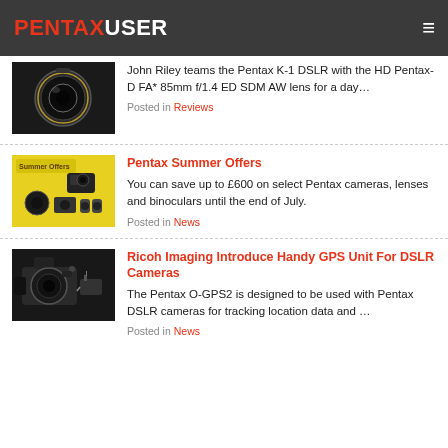PENTAXUSER
John Riley teams the Pentax K-1 DSLR with the HD Pentax-D FA* 85mm f/1.4 ED SDM AW lens for a day…
Posted in Reviews
Pentax Summer Offers
You can save up to £600 on select Pentax cameras, lenses and binoculars until the end of July.
Posted in News
Ricoh Imaging Introduce Handy GPS Unit For DSLR Cameras
The Pentax O-GPS2 is designed to be used with Pentax DSLR cameras for tracking location data and …
Posted in News